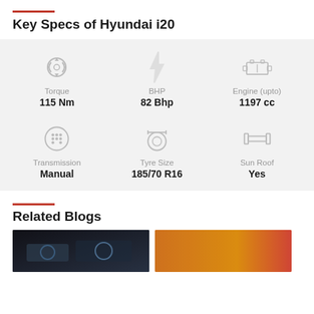Key Specs of Hyundai i20
| Torque | BHP | Engine (upto) |
| --- | --- | --- |
| 115 Nm | 82 Bhp | 1197 cc |
| Transmission | Tyre Size | Sun Roof |
| --- | --- | --- |
| Manual | 185/70 R16 | Yes |
Related Blogs